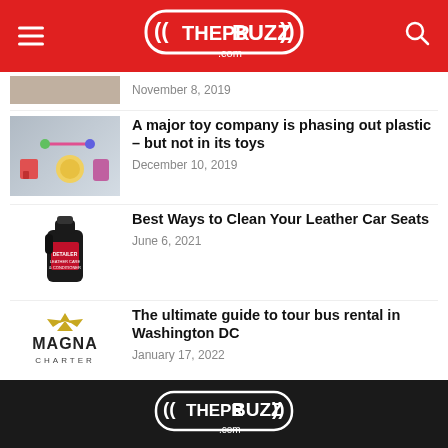THEPRBUZZ.com
November 8, 2019
A major toy company is phasing out plastic – but not in its toys
December 10, 2019
Best Ways to Clean Your Leather Car Seats
June 6, 2021
The ultimate guide to tour bus rental in Washington DC
January 17, 2022
THEPRBUZZ.com